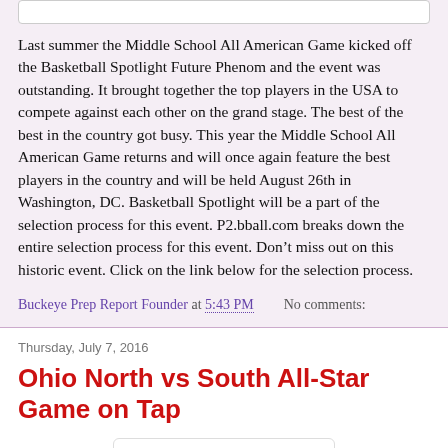Last summer the Middle School All American Game kicked off the Basketball Spotlight Future Phenom and the event was outstanding. It brought together the top players in the USA to compete against each other on the grand stage. The best of the best in the country got busy. This year the Middle School All American Game returns and will once again feature the best players in the country and will be held August 26th in Washington, DC. Basketball Spotlight will be a part of the selection process for this event. P2.bball.com breaks down the entire selection process for this event. Don’t miss out on this historic event. Click on the link below for the selection process.
Buckeye Prep Report Founder at 5:43 PM    No comments:
Thursday, July 7, 2016
Ohio North vs South All-Star Game on Tap
[Figure (logo): Ohio state outline logo with red and black design, split into two halves]